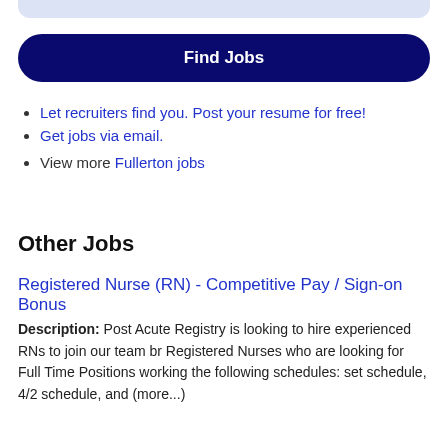[Figure (other): Light blue rounded bar at top of page (decorative UI element)]
Find Jobs
Let recruiters find you. Post your resume for free!
Get jobs via email.
View more Fullerton jobs
Other Jobs
Registered Nurse (RN) - Competitive Pay / Sign-on Bonus
Description: Post Acute Registry is looking to hire experienced RNs to join our team br Registered Nurses who are looking for Full Time Positions working the following schedules: set schedule, 4/2 schedule, and (more...)